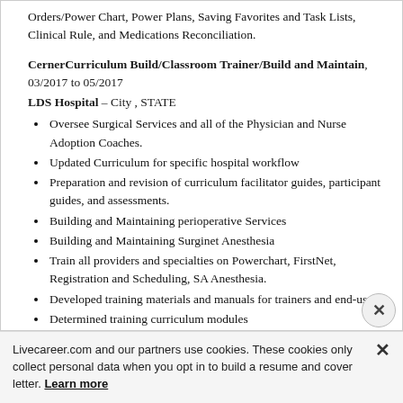Orders/Power Chart, Power Plans, Saving Favorites and Task Lists, Clinical Rule, and Medications Reconciliation.
CernerCurriculum Build/Classroom Trainer/Build and Maintain, 03/2017 to 05/2017
LDS Hospital – City , STATE
Oversee Surgical Services and all of the Physician and Nurse Adoption Coaches.
Updated Curriculum for specific hospital workflow
Preparation and revision of curriculum facilitator guides, participant guides, and assessments.
Building and Maintaining perioperative Services
Building and Maintaining Surginet Anesthesia
Train all providers and specialties on Powerchart, FirstNet, Registration and Scheduling, SA Anesthesia.
Developed training materials and manuals for trainers and end-users
Determined training curriculum modules
Conducted instructor-led training sessions for testers, build participants, trainers and end users in the following
Livecareer.com and our partners use cookies. These cookies only collect personal data when you opt in to build a resume and cover letter. Learn more